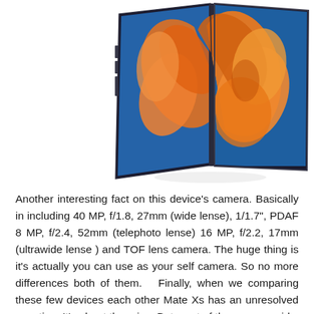[Figure (photo): A Huawei Mate Xs foldable smartphone shown partially open/folded, displaying an orange flower on a blue background on its large flexible display. The device is shown at an angle revealing the fold mechanism and side buttons.]
Another interesting fact on this device's camera. Basically in including 40 MP, f/1.8, 27mm (wide lense), 1/1.7", PDAF 8 MP, f/2.4, 52mm (telephoto lense) 16 MP, f/2.2, 17mm (ultrawide lense ) and TOF lens camera. The huge thing is it's actually you can use as your self camera. So no more differences both of them.  Finally, when we comparing these few devices each other Mate Xs has an unresolved question. It's about the price. But most of the rumors said